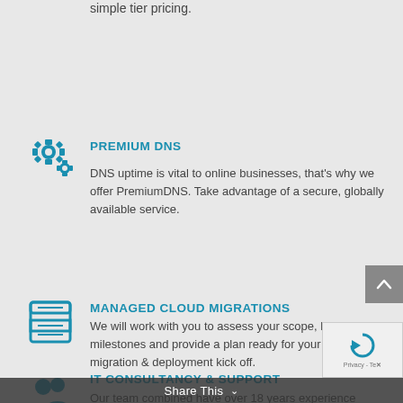simple tier pricing.
PREMIUM DNS
DNS uptime is vital to online businesses, that's why we offer PremiumDNS. Take advantage of a secure, globally available service.
MANAGED CLOUD MIGRATIONS
We will work with you to assess your scope, key milestones and provide a plan ready for your data migration & deployment kick off.
IT CONSULTANCY & SUPPORT
Our team combined have over 18 years experience within the IT, SAAS & Cloud